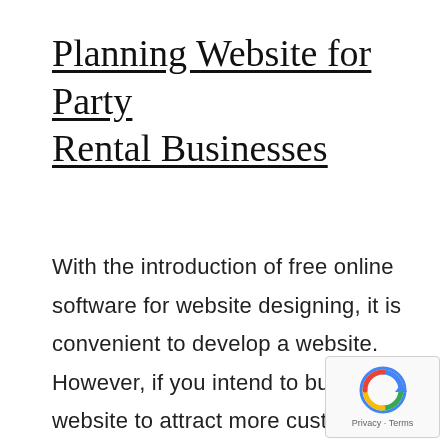Planning Website for Party Rental Businesses
With the introduction of free online software for website designing, it is convenient to develop a website. However, if you intend to build a website to attract more customers and enhance your business, you need to plan it properly. Here